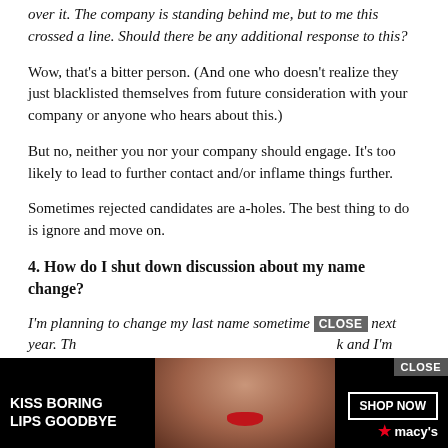over it. The company is standing behind me, but to me this crossed a line. Should there be any additional response to this?
Wow, that's a bitter person. (And one who doesn't realize they just blacklisted themselves from future consideration with your company or anyone who hears about this.)
But no, neither you nor your company should engage. It's too likely to lead to further contact and/or inflame things further.
Sometimes rejected candidates are a-holes. The best thing to do is ignore and move on.
4. How do I shut down discussion about my name change?
I'm planning to change my last name sometime next year. Th... k and I'm onl... On the
[Figure (other): Macy's advertisement overlay with CLOSE button, showing a woman with red lips, text 'KISS BORING LIPS GOODBYE', SHOP NOW button and Macy's logo]